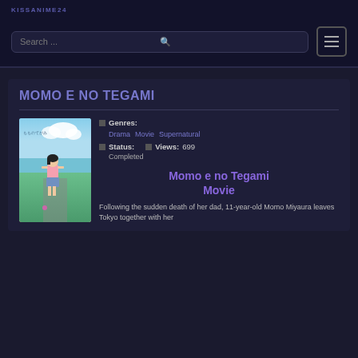KISSANIME24
Search ...
MOMO E NO TEGAMI
Genres: Drama Movie Supernatural
Status: Completed   Views: 699
[Figure (illustration): Anime movie cover art for Momo e no Tegami showing a young girl standing outdoors with Japanese text]
Momo e no Tegami Movie
Following the sudden death of her dad, 11-year-old Momo Miyaura leaves Tokyo together with her